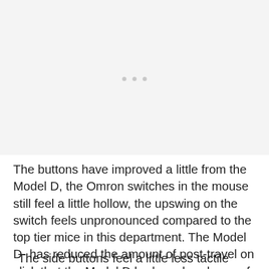[Figure (photo): Light gray image placeholder area with three small gray dots centered near the top third of the image area.]
The buttons have improved a little from the Model D, the Omron switches in the mouse still feel a little hollow, the upswing on the switch feels unpronounced compared to the top tier mice in this department. The Model D- has reduced the amount of post-travel on click that the Model D had an abundance of.
The side buttons feel a little less tactile than found on the